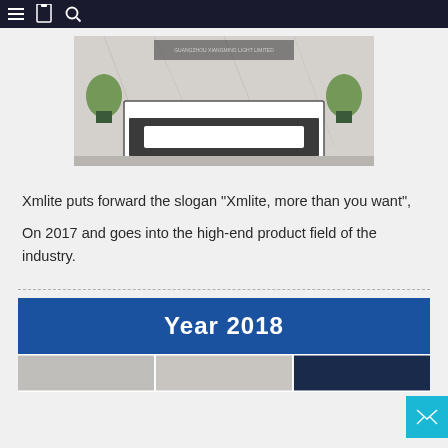Navigation bar with menu, book, and search icons
[Figure (photo): Reception desk of Guangzhou Xiangming Light Limited company lobby, with marble walls, flowers, and a white reception counter]
Xmlite puts forward the slogan “Xmlite, more than you want”,
On 2017 and goes into the high-end product field of the industry.
Year 2018
[Figure (photo): Partial view of product images at bottom of page]